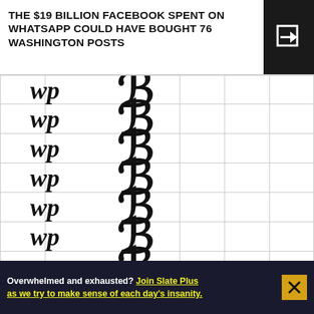THE $19 BILLION FACEBOOK SPENT ON WHATSAPP COULD HAVE BOUGHT 76 WASHINGTON POSTS
[Figure (infographic): Infographic showing repeated Washington Post (wp) logos in first column and large decorative B letters (representing Boston Globe or similar) in second column, arranged in a grid to illustrate the comparison of $19 billion to 76 Washington Posts and other newspapers]
Overwhelmed and exhausted? Join Slate Plus as we try to make sense of each day's insanity.